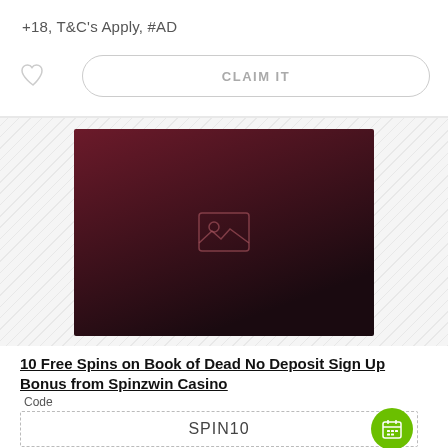+18, T&C's Apply, #AD
[Figure (other): Claim It button with heart icon]
[Figure (photo): Dark red/maroon casino banner image placeholder with image icon]
10 Free Spins on Book of Dead No Deposit Sign Up Bonus from Spinzwin Casino
Code
SPIN10
Offer by : Spinzwin Casino
United States of America is allowed.